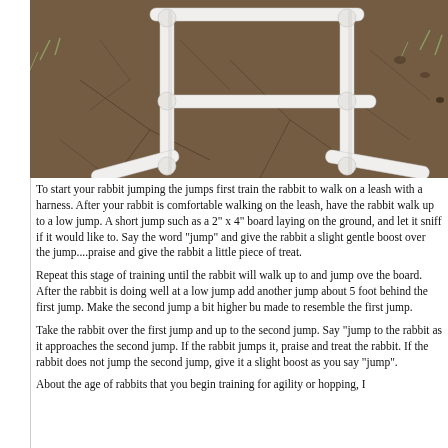[Figure (photo): Photo of a white PVC pipe rabbit agility jump obstacle on cracked dry dirt/mud ground. The jump has two vertical side supports with horizontal cross bars forming a classic hurdle shape.]
To start your rabbit jumping the jumps first train the rabbit to walk on a leash with a harness. After your rabbit is comfortable walking on the leash, have the rabbit walk up to a low jump. A short jump such as a 2" x 4" board laying on the ground, and let it sniff if it would like to. Say the word "jump" and give the rabbit a slight gentle boost over the jump....praise and give the rabbit a little piece of treat.
Repeat this stage of training until the rabbit will walk up to and jump over the board. After the rabbit is doing well at a low jump add another jump about 5 foot behind the first jump. Make the second jump a bit higher but made to resemble the first jump.
Take the rabbit over the first jump and up to the second jump. Say "jump" to the rabbit as it approaches the second jump. If the rabbit jumps it, praise and treat the rabbit. If the rabbit does not jump the second jump, give it a slight boost as you say "jump".
About the age of rabbits that you begin training for agility or hopping, I